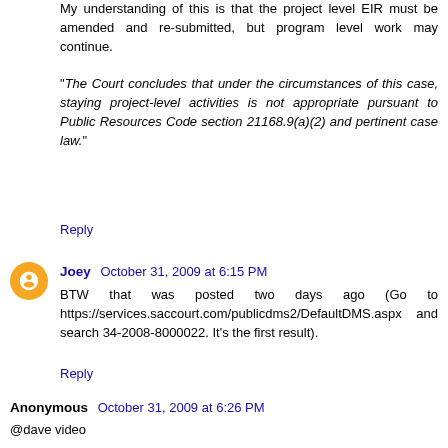My understanding of this is that the project level EIR must be amended and re-submitted, but program level work may continue.
"The Court concludes that under the circumstances of this case, staying project-level activities is not appropriate pursuant to Public Resources Code section 21168.9(a)(2) and pertinent case law."
Reply
Joey  October 31, 2009 at 6:15 PM
BTW that was posted two days ago (Go to https://services.saccourt.com/publicdms2/DefaultDMS.aspx and search 34-2008-8000022. It's the first result).
Reply
Anonymous  October 31, 2009 at 6:26 PM
@dave video